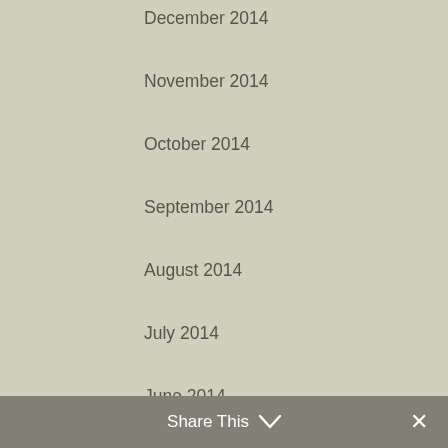December 2014
November 2014
October 2014
September 2014
August 2014
July 2014
June 2014
CATEGORIES
Art
Books
Business Writing
Case Study
Competition
Conscious Consumerism
Conscious Living
Share This